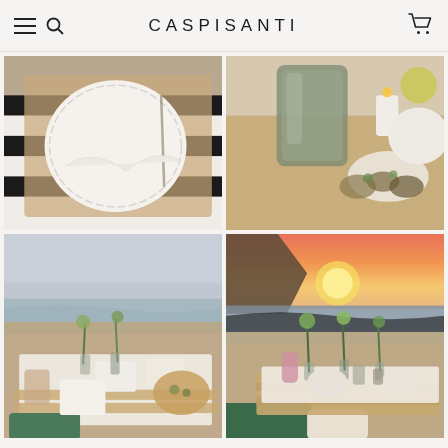CASPISANTI
[Figure (photo): Top-left: Close-up overhead shot of white scalloped plate and napkin on wooden tray with black and white striped surface]
[Figure (photo): Top-right: Close-up of smoky glass tumbler, candle, and food spread with oysters on a wooden tray]
[Figure (photo): Bottom-left: Beach picnic scene with low wooden pallet table set with white linens, green florals, drinks and pizza, with ocean in background]
[Figure (photo): Bottom-right: Sunset beach picnic with green cushions on wooden pallet table, florals, glassware, with pink and orange sky over ocean]